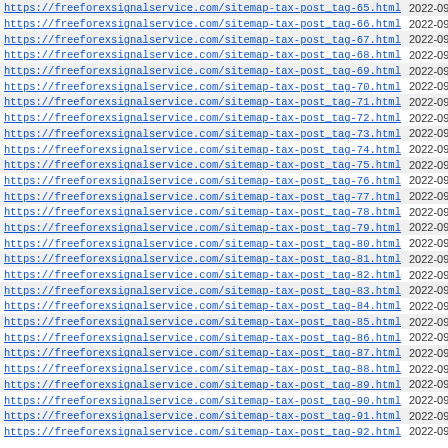| URL | Date |
| --- | --- |
| https://freeforexsignalservice.com/sitemap-tax-post_tag-65.html | 2022-09-02 12:22 |
| https://freeforexsignalservice.com/sitemap-tax-post_tag-66.html | 2022-09-02 12:22 |
| https://freeforexsignalservice.com/sitemap-tax-post_tag-67.html | 2022-09-02 12:22 |
| https://freeforexsignalservice.com/sitemap-tax-post_tag-68.html | 2022-09-02 12:22 |
| https://freeforexsignalservice.com/sitemap-tax-post_tag-69.html | 2022-09-02 12:22 |
| https://freeforexsignalservice.com/sitemap-tax-post_tag-70.html | 2022-09-02 12:22 |
| https://freeforexsignalservice.com/sitemap-tax-post_tag-71.html | 2022-09-02 12:22 |
| https://freeforexsignalservice.com/sitemap-tax-post_tag-72.html | 2022-09-02 12:22 |
| https://freeforexsignalservice.com/sitemap-tax-post_tag-73.html | 2022-09-02 12:22 |
| https://freeforexsignalservice.com/sitemap-tax-post_tag-74.html | 2022-09-02 12:22 |
| https://freeforexsignalservice.com/sitemap-tax-post_tag-75.html | 2022-09-02 12:22 |
| https://freeforexsignalservice.com/sitemap-tax-post_tag-76.html | 2022-09-02 12:22 |
| https://freeforexsignalservice.com/sitemap-tax-post_tag-77.html | 2022-09-02 12:22 |
| https://freeforexsignalservice.com/sitemap-tax-post_tag-78.html | 2022-09-02 12:22 |
| https://freeforexsignalservice.com/sitemap-tax-post_tag-79.html | 2022-09-02 12:22 |
| https://freeforexsignalservice.com/sitemap-tax-post_tag-80.html | 2022-09-02 12:22 |
| https://freeforexsignalservice.com/sitemap-tax-post_tag-81.html | 2022-09-02 12:22 |
| https://freeforexsignalservice.com/sitemap-tax-post_tag-82.html | 2022-09-02 12:22 |
| https://freeforexsignalservice.com/sitemap-tax-post_tag-83.html | 2022-09-02 12:22 |
| https://freeforexsignalservice.com/sitemap-tax-post_tag-84.html | 2022-09-02 12:22 |
| https://freeforexsignalservice.com/sitemap-tax-post_tag-85.html | 2022-09-02 12:22 |
| https://freeforexsignalservice.com/sitemap-tax-post_tag-86.html | 2022-09-02 12:22 |
| https://freeforexsignalservice.com/sitemap-tax-post_tag-87.html | 2022-09-02 12:22 |
| https://freeforexsignalservice.com/sitemap-tax-post_tag-88.html | 2022-09-02 12:22 |
| https://freeforexsignalservice.com/sitemap-tax-post_tag-89.html | 2022-09-02 12:22 |
| https://freeforexsignalservice.com/sitemap-tax-post_tag-90.html | 2022-09-02 12:22 |
| https://freeforexsignalservice.com/sitemap-tax-post_tag-91.html | 2022-09-02 12:22 |
| https://freeforexsignalservice.com/sitemap-tax-post_tag-92.html | 2022-09-02 12:22 |